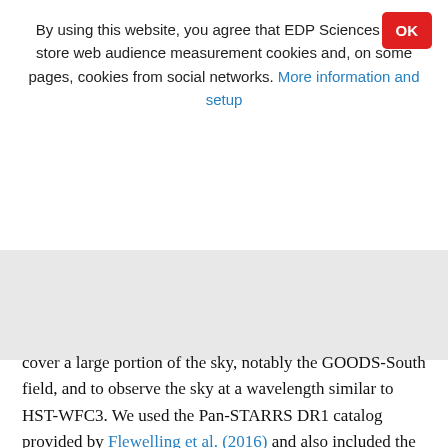By using this website, you agree that EDP Sciences may store web audience measurement cookies and, on some pages, cookies from social networks. More information and setup
[Figure (other): Gray placeholder/overlay area representing a blocked or loading content region]
cover a large portion of the sky, notably the GOODS-South field, and to observe the sky at a wavelength similar to HST-WFC3. We used the Pan-STARRS DR1 catalog provided by Flewelling et al. (2016) and also included the corresponding regions issued from the Gaia